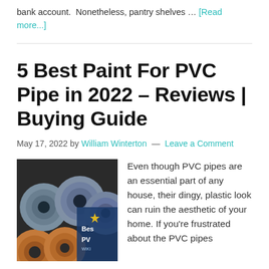bank account.  Nonetheless, pantry shelves … [Read more...]
5 Best Paint For PVC Pipe in 2022 – Reviews | Buying Guide
May 17, 2022 by William Winterton — Leave a Comment
[Figure (photo): Photo of PVC pipes bundled together (orange and grey/blue) with a book cover overlay showing 'Best PVC' text]
Even though PVC pipes are an essential part of any house, their dingy, plastic look can ruin the aesthetic of your home. If you're frustrated about the PVC pipes